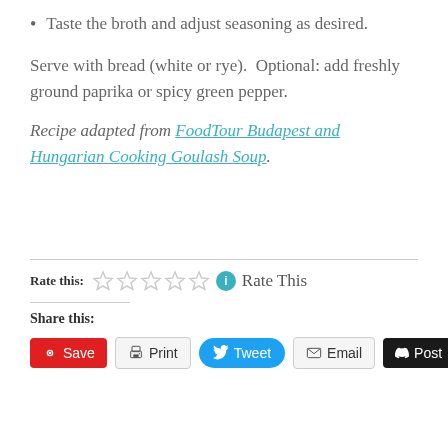Taste the broth and adjust seasoning as desired.
Serve with bread (white or rye).  Optional: add freshly ground paprika or spicy green pepper.
Recipe adapted from FoodTour Budapest and Hungarian Cooking Goulash Soup.
Rate this: ☆☆☆☆☆ ℹ Rate This
Share this:
Save  Print  Tweet  Email  Post